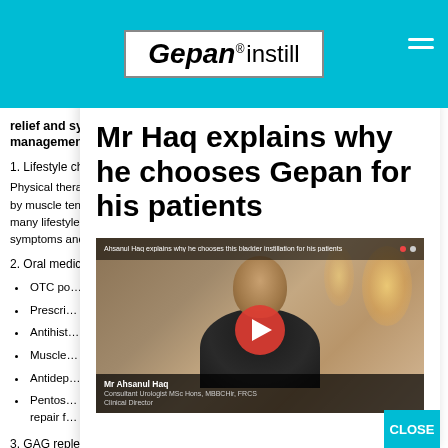Gepan® instill
relief and symptom management:
1. Lifestyle cho…
Physical therapi… by muscle tensio… many lifestyle ch… symptoms and e…
2. Oral medico…
OTC po…
Prescri…
Antihist…
Muscle…
Antidep…
Pentos… repair f…
3. GAG replenishment therapy through bladder
Mr Haq explains why he chooses Gepan for his patients
[Figure (screenshot): Video thumbnail showing Mr Ahsanul Haq, Consultant Urologist, with a red play button overlay and name caption bar at bottom.]